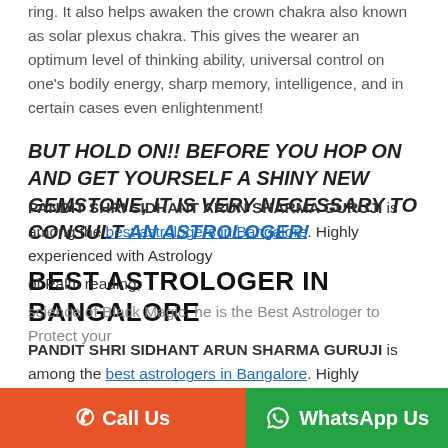ring. It also helps awaken the crown chakra also known as solar plexus chakra. This gives the wearer an optimum level of thinking ability, universal control on one's bodily energy, sharp memory, intelligence, and in certain cases even enlightenment!
BUT HOLD ON!! BEFORE YOU HOP ON AND GET YOURSELF A SHINY NEW GEMSTONE, IT IS VERY NECESSARY TO CONSULT AN ASTROLOGER!
BEST ASTROLOGER IN BANGALORE
PANDIT SHRI SIDHANT ARUN SHARMA GURUJI is among the best astrologers in Bangalore. Highly experienced with Astrology of Palm reading, science of Black Magic, he is the Best Astrologer to Protect your
[Figure (other): Bottom navigation bar with orange Call Us button and green WhatsApp Us button]